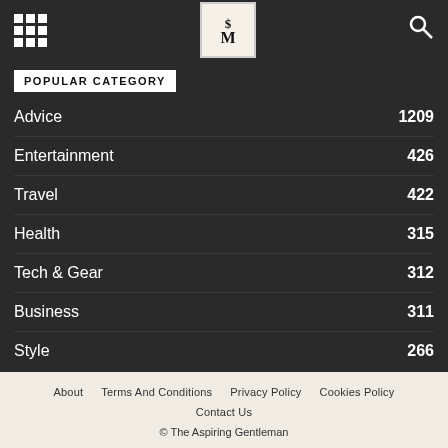[Figure (logo): Website header with grid/hamburger icon on left, stylized SM logo in center white box, search magnifying glass icon on right, all on dark background]
POPULAR CATEGORY
Advice 1209
Entertainment 426
Travel 422
Health 315
Tech & Gear 312
Business 311
Style 266
About   Terms And Conditions   Privacy Policy   Cookies Policy   Contact Us   © The Aspiring Gentleman